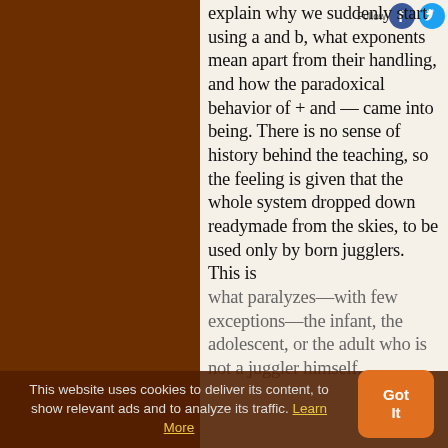explain why we suddenly start using a and b, what exponents mean apart from their handling, and how the paradoxical behavior of + and — came into being. There is no sense of history behind the teaching, so the feeling is given that the whole system dropped down readymade from the skies, to be used only by born jugglers. This is what paralyzes—with few exceptions—the infant, the adolescent, or the adult who is not a juggler himself.
This website uses cookies to deliver its content, to show relevant ads and to analyze its traffic. Learn More